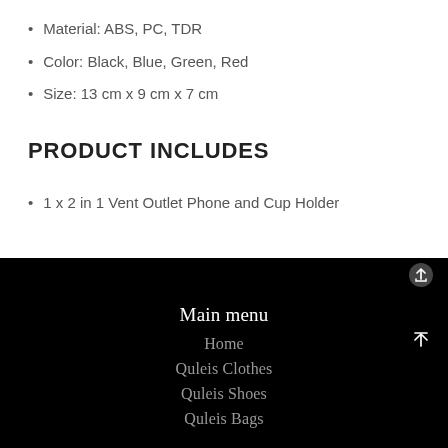Material: ABS, PC, TDR
Color: Black, Blue, Green, Red
Size: 13 cm x 9 cm x 7 cm
PRODUCT INCLUDES
1 x 2 in 1 Vent Outlet Phone and Cup Holder
Main menu
Home
Quleis Clothes
Quleis Shoes
Quleis Bags